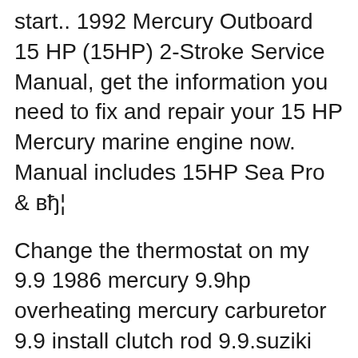start.. 1992 Mercury Outboard 15 HP (15HP) 2-Stroke Service Manual, get the information you need to fix and repair your 15 HP Mercury marine engine now. Manual includes 15HP Sea Pro & вђ¦
Change the thermostat on my 9.9 1986 mercury 9.9hp overheating mercury carburetor 9.9 install clutch rod 9.9.suziki mercury 9,9 2007 oil filter change on 9.9 mercury 1994 9.9hp 2 + 2 mercury outboard carb problems 1986 mercury 9.9 hp outboard motor running hot mercury 9.9 hp outboard owners manual gebruiksaanwijzing motor mercury 4 stroke 9.9 2005 1989 mariner 9.9hp idle wire replacement 9.9hp. Buy and Download > Description